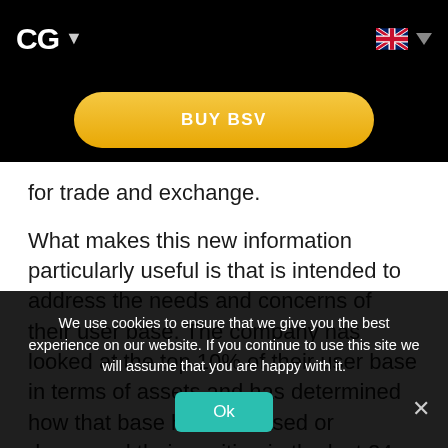CG ▾
[Figure (other): BUY BSV button — gold/yellow pill-shaped button on black background]
for trade and exchange.
What makes this new information particularly useful is that is intended to address the needs and concerns of their user base. The company has looked at the top 10% of their user base in terms of assets and has determined how that base has increased or decreased their position in the last 24 hours. This signal is then updated every two hours
We use cookies to ensure that we give you the best experience on our website. If you continue to use this site we will assume that you are happy with it.